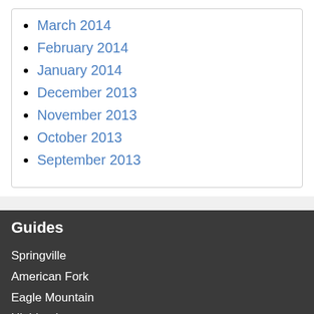March 2014
February 2014
January 2014
December 2013
November 2013
October 2013
September 2013
Guides
Springville
American Fork
Eagle Mountain
Highland
Lehi
More Guides >
[Figure (logo): Google Translate button with G logo]